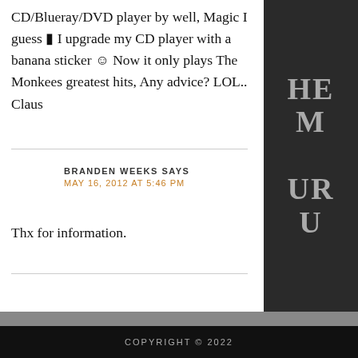CD/Blueray/DVD player by well, Magic I guess 🙁 I upgrade my CD player with a banana sticker 😊 Now it only plays The Monkees greatest hits, Any advice? LOL.. Claus
BRANDEN WEEKS SAYS
MAY 16, 2012 AT 5:46 PM
Thx for information.
COPYRIGHT © 2022